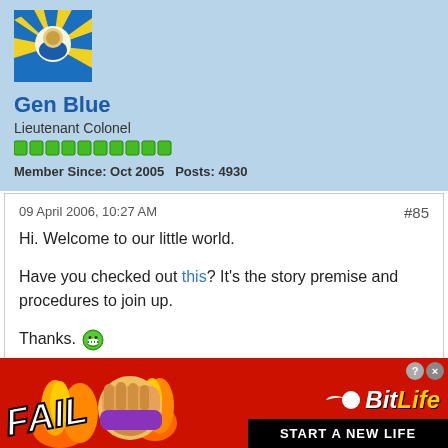[Figure (illustration): Avatar image with gold/blue decorative design on blue background]
Gen Blue
Lieutenant Colonel
[Figure (infographic): Green reputation bar indicators (10 bars)]
Member Since: Oct 2005   Posts: 4930
09 April 2006, 10:27 AM
#85
Hi. Welcome to our little world.

Have you checked out this? It's the story premise and procedures to join up.

Thanks. 😁
[Figure (infographic): BitLife advertisement banner with FAIL text, emoji, fire, and START A NEW LIFE tagline]